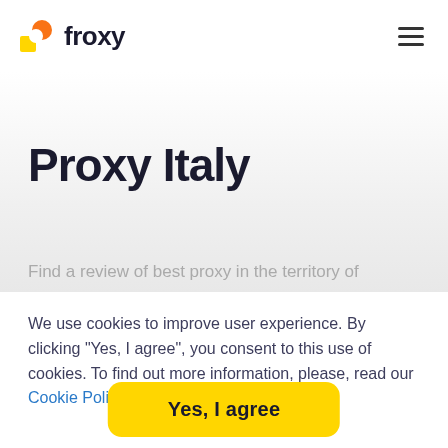froxy
Proxy Italy
We use cookies to improve user experience. By clicking "Yes, I agree", you consent to this use of cookies. To find out more information, please, read our Cookie Policy
Yes, I agree